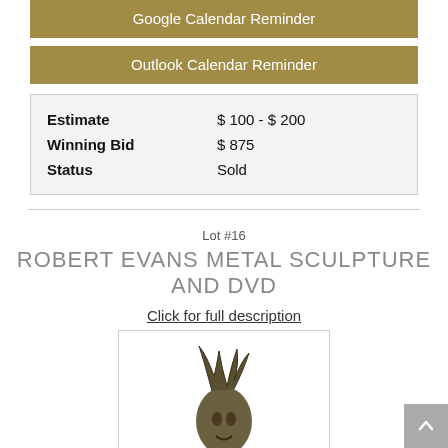Google Calendar Reminder
Outlook Calendar Reminder
| Estimate | $ 100 - $ 200 |
| Winning Bid | $ 875 |
| Status | Sold |
Lot #16
ROBERT EVANS METAL SCULPTURE AND DVD
Click for full description
[Figure (photo): Bronze metal sculpture of a face/head with decorative elements, dark patina, artistic style.]